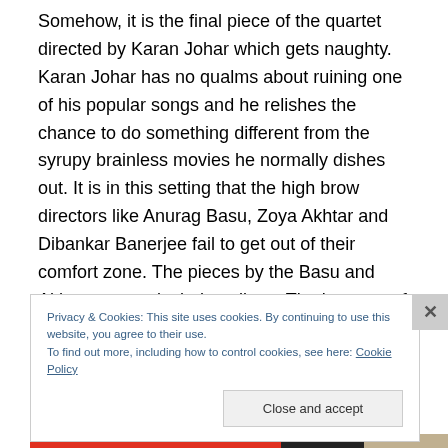Somehow, it is the final piece of the quartet directed by Karan Johar which gets naughty. Karan Johar has no qualms about ruining one of his popular songs and he relishes the chance to do something different from the syrupy brainless movies he normally dishes out. It is in this setting that the high brow directors like Anurag Basu, Zoya Akhtar and Dibankar Banerjee fail to get out of their comfort zone. The pieces by the Basu and Akhtar are particularly tedious. The low cost of production is also evident in their work. Overall, the lust part is strong but the story part is particularly weak in ‘Lust Stories’.
Privacy & Cookies: This site uses cookies. By continuing to use this website, you agree to their use.
To find out more, including how to control cookies, see here: Cookie Policy
Close and accept